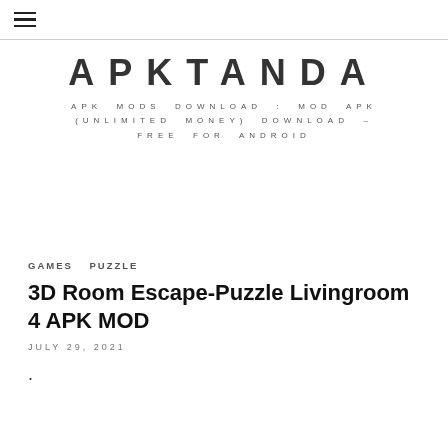☰ (hamburger menu)
APKTANDA
APK MODS DOWNLOAD : MOD APK (UNLIMITED MONEY) DOWNLOAD – FREE FOR ANDROID
GAMES   PUZZLE
3D Room Escape-Puzzle Livingroom 4 APK MOD
JULY 29, 2021
.